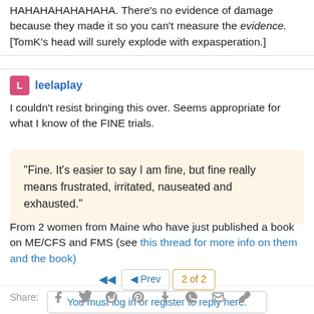HAHAHAHAHAHAHA. There's no evidence of damage because they made it so you can't measure the evidence. [TomK's head will surely explode with expasperation.]
leelaplay
I couldn't resist bringing this over. Seems appropriate for what I know of the FINE trials.
"Fine. It's easier to say I am fine, but fine really means frustrated, irritated, nauseated and exhausted."
From 2 women from Maine who have just published a book on ME/CFS and FMS (see this thread for more info on them and the book)
Share: f  Twitter  Reddit  Pinterest  Tumblr  WhatsApp  Email  Link